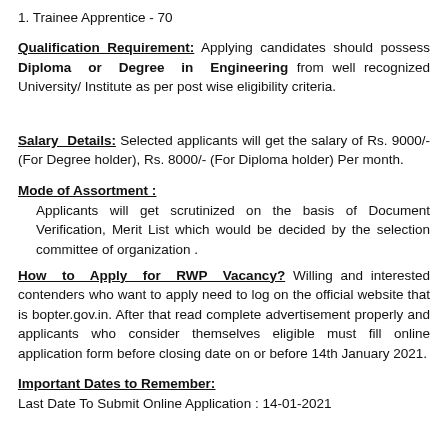1. Trainee Apprentice - 70
Qualification Requirement: Applying candidates should possess Diploma or Degree in Engineering from well recognized University/ Institute as per post wise eligibility criteria.
Salary Details: Selected applicants will get the salary of Rs. 9000/- (For Degree holder), Rs. 8000/- (For Diploma holder) Per month.
Mode of Assortment :
Applicants will get scrutinized on the basis of Document Verification, Merit List which would be decided by the selection committee of organization .
How to Apply for RWP Vacancy? Willing and interested contenders who want to apply need to log on the official website that is bopter.gov.in. After that read complete advertisement properly and applicants who consider themselves eligible must fill online application form before closing date on or before 14th January 2021.
Important Dates to Remember:
Last Date To Submit Online Application : 14-01-2021